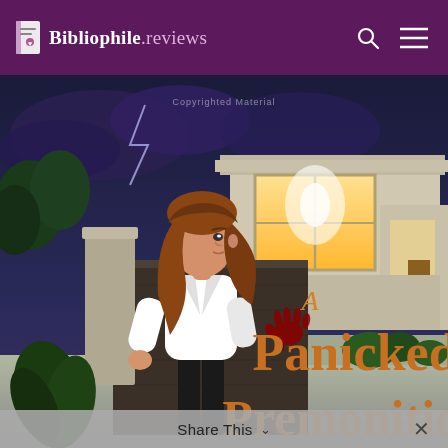Bibliophile.reviews
[Figure (illustration): Book cover of 'A Panicked Premonition' showing a cartoon woman with long brown hair wearing a white jacket and black pants, pressed against a wooden fence at night beside a modern illuminated house. A bloody handprint is visible on the fence. Text on cover reads 'A Panicked Premonition' in orange/brown lettering. Watermark reads 'Copyrighted Material'.]
Share This